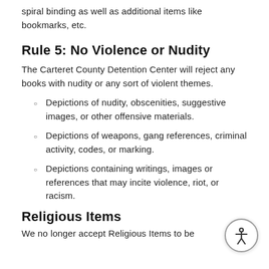spiral binding as well as additional items like bookmarks, etc.
Rule 5: No Violence or Nudity
The Carteret County Detention Center will reject any books with nudity or any sort of violent themes.
Depictions of nudity, obscenities, suggestive images, or other offensive materials.
Depictions of weapons, gang references, criminal activity, codes, or marking.
Depictions containing writings, images or references that may incite violence, riot, or racism.
Religious Items
We no longer accept Religious Items to be